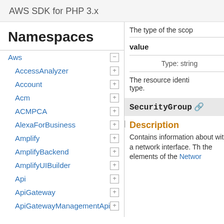AWS SDK for PHP 3.x
Namespaces
Aws
AccessAnalyzer
Account
Acm
ACMPCA
AlexaForBusiness
Amplify
AmplifyBackend
AmplifyUIBuilder
Api
ApiGateway
ApiGatewayManagementApi
The type of the scop
value
Type: string
The resource identi type.
SecurityGroup
Description
Contains information about with a network interface. The elements of the Networ